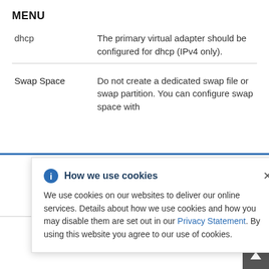MENU
|  |  |
| --- | --- |
| dhcp | The primary virtual adapter should be configured for dhcp (IPv4 only). |
| Swap Space | Do not create a dedicated swap file or swap partition. You can configure swap space with ... Linux ... t). |
How we use cookies

We use cookies on our websites to deliver our online services. Details about how we use cookies and how you may disable them are set out in our Privacy Statement. By using this website you agree to our use of cookies.